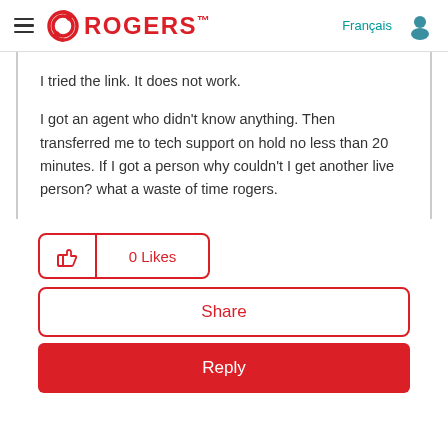Rogers - Français
I tried the link. It does not work.
I got an agent who didn't know anything. Then transferred me to tech support on hold no less than 20 minutes. If I got a person why couldn't I get another live person? what a waste of time rogers.
[Figure (other): 0 Likes button with thumbs up icon, red border]
[Figure (other): Share button, red border, white background]
[Figure (other): Reply button, red background, white text]